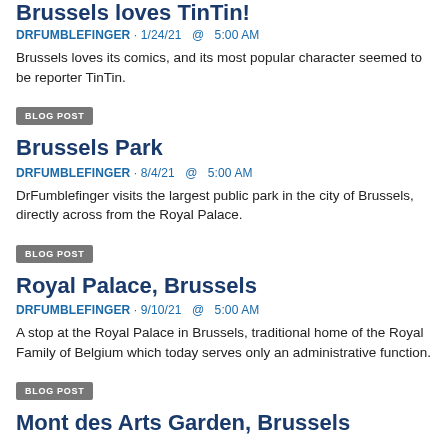Brussels loves TinTin!
DRFUMBLEFINGER · 1/24/21  @  5:00 AM
Brussels loves its comics, and its most popular character seemed to be reporter TinTin.
BLOG POST
Brussels Park
DRFUMBLEFINGER · 8/4/21  @  5:00 AM
DrFumblefinger visits the largest public park in the city of Brussels, directly across from the Royal Palace.
BLOG POST
Royal Palace, Brussels
DRFUMBLEFINGER · 9/10/21  @  5:00 AM
A stop at the Royal Palace in Brussels, traditional home of the Royal Family of Belgium which today serves only an administrative function.
BLOG POST
Mont des Arts Garden, Brussels